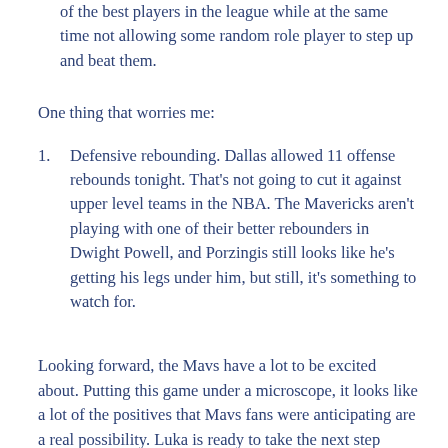of the best players in the league while at the same time not allowing some random role player to step up and beat them.
One thing that worries me:
Defensive rebounding. Dallas allowed 11 offense rebounds tonight. That’s not going to cut it against upper level teams in the NBA. The Mavericks aren’t playing with one of their better rebounders in Dwight Powell, and Porzingis still looks like he’s getting his legs under him, but still, it’s something to watch for.
Looking forward, the Mavs have a lot to be excited about. Putting this game under a microscope, it looks like a lot of the positives that Mavs fans were anticipating are a real possibility. Luka is ready to take the next step toward being a franchise player, the bench unit looks like one that can not only keep the team in games but can go out and win them as well, and the defense